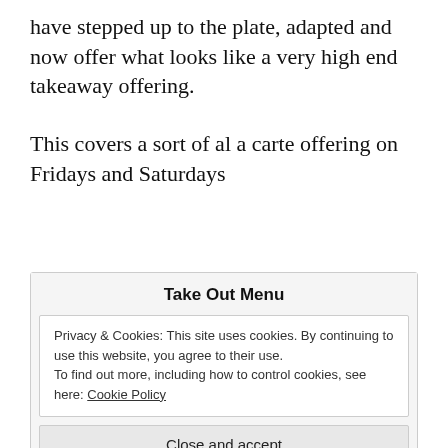have stepped up to the plate, adapted and now offer what looks like a very high end takeaway offering.
This covers a sort of al a carte offering on Fridays and Saturdays
Take Out Menu
Privacy & Cookies: This site uses cookies. By continuing to use this website, you agree to their use.
To find out more, including how to control cookies, see here: Cookie Policy
Close and accept
Spiced Buttermilk Fried Chicken, Fennel, Kimchi Sauce  18